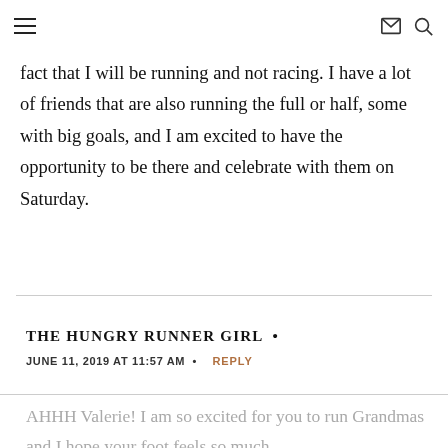≡  ✉ 🔍
fact that I will be running and not racing. I have a lot of friends that are also running the full or half, some with big goals, and I am excited to have the opportunity to be there and celebrate with them on Saturday.
THE HUNGRY RUNNER GIRL •
JUNE 11, 2019 AT 11:57 AM • REPLY
AHHH Valerie! I am so excited for you to run Grandmas and I hope your foot feels so much